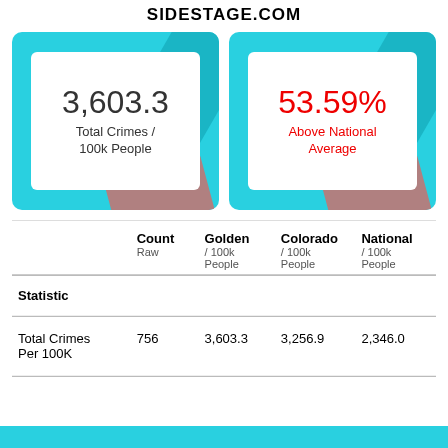SIDESTAGE.COM
[Figure (infographic): Cyan card showing 3,603.3 Total Crimes / 100k People]
[Figure (infographic): Cyan card showing 53.59% Above National Average]
| Statistic | Count
Raw | Golden
/ 100k People | Colorado
/ 100k People | National
/ 100k People |
| --- | --- | --- | --- | --- |
| Total Crimes Per 100K | 756 | 3,603.3 | 3,256.9 | 2,346.0 |